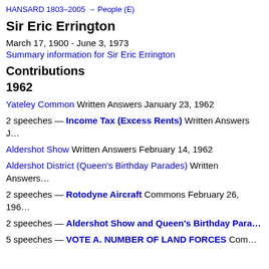HANSARD 1803–2005 → People (E)
Sir Eric Errington
March 17, 1900 - June 3, 1973
Summary information for Sir Eric Errington
Contributions
1962
Yateley Common Written Answers January 23, 1962
2 speeches — Income Tax (Excess Rents) Written Answers J…
Aldershot Show Written Answers February 14, 1962
Aldershot District (Queen's Birthday Parades) Written Answers…
2 speeches — Rotodyne Aircraft Commons February 26, 196…
2 speeches — Aldershot Show and Queen's Birthday Para…
5 speeches — VOTE A. NUMBER OF LAND FORCES Com…